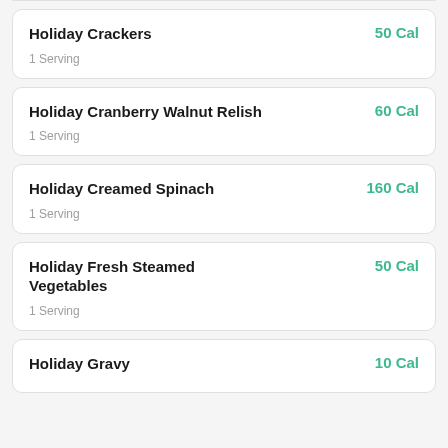Holiday Crackers — 50 Cal, 1 Serving
Holiday Cranberry Walnut Relish — 60 Cal, 1 Serving
Holiday Creamed Spinach — 160 Cal, 1 Serving
Holiday Fresh Steamed Vegetables — 50 Cal, 1 Serving
Holiday Gravy — 10 Cal (partial)